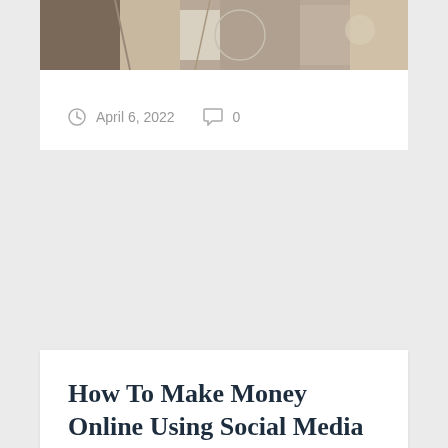[Figure (photo): Cropped top portion of a photo showing people or objects, partially visible at the top of the page]
April 6, 2022   0
How To Make Money Online Using Social Media –